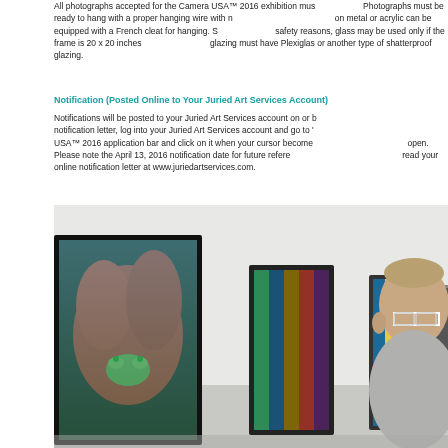All photographs accepted for the Camera USA™ 2016 exhibition must be framed. Photographs must be ready to hang with a proper hanging wire with no sawtooth hangers; prints on metal or acrylic can be equipped with a French cleat for hanging. Safety note: For safety reasons, glass may be used only if the frame is 20 x 20 inches or smaller; larger glazing must have Plexiglas or another type of shatterproof glazing.
Notification (Posted Online to Your Juried Art Services Account)
Notifications will be posted to your Juried Art Services account on or before April 13, 2016. To read your notification letter, log into your Juried Art Services account and go to 'My Portfolio.' Find the Camera USA™ 2016 application bar and click on it when your cursor becomes a hand and the bar will open. Please note the April 13, 2016 notification date for future reference. You will need to log in to read your online notification letter at www.juriedartservices.com.
[Figure (photo): A man with glasses views framed photographs hanging on a white gallery wall, including a colorful close-up photograph of a red plant with a green frog.]